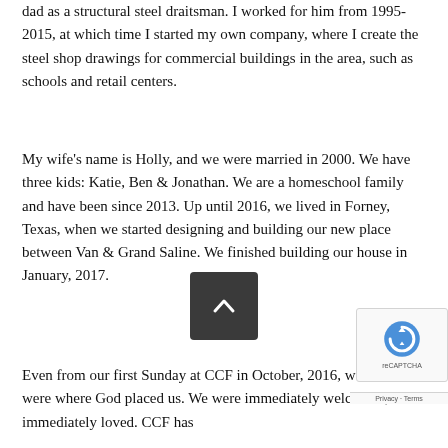dad as a structural steel draitsman. I worked for him from 1995-2015, at which time I started my own company, where I create the steel shop drawings for commercial buildings in the area, such as schools and retail centers.
My wife's name is Holly, and we were married in 2000. We have three kids: Katie, Ben & Jonathan. We are a homeschool family and have been since 2013. Up until 2016, we lived in Forney, Texas, when we started designing and building our new place between Van & Grand Saline. We finished building our house in January, 2017.
Even from our first Sunday at CCF in October, 2016, we knew we were where God placed us. We were immediately welcomed, and immediately loved. CCF has